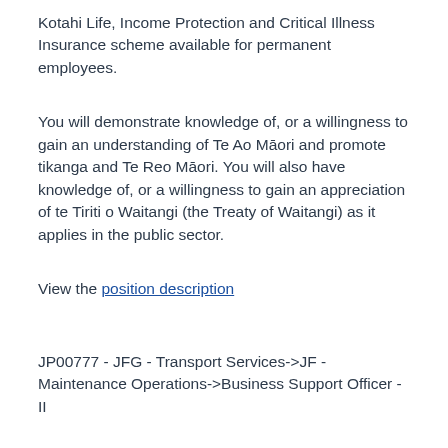Kotahi Life, Income Protection and Critical Illness Insurance scheme available for permanent employees.
You will demonstrate knowledge of, or a willingness to gain an understanding of Te Ao Māori and promote tikanga and Te Reo Māori. You will also have knowledge of, or a willingness to gain an appreciation of te Tiriti o Waitangi (the Treaty of Waitangi) as it applies in the public sector.
View the position description
JP00777 - JFG - Transport Services->JF - Maintenance Operations->Business Support Officer - II